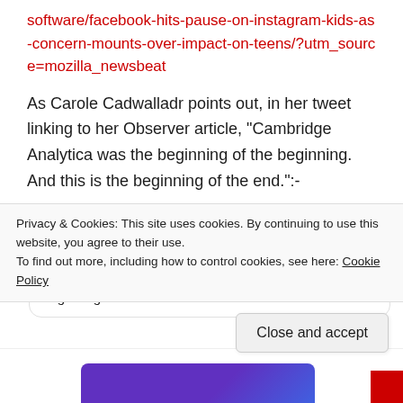software/facebook-hits-pause-on-instagram-kids-as-concern-mounts-over-impact-on-teens/?utm_source=mozilla_newsbeat
As Carole Cadwalladr points out, in her tweet linking to her Observer article, “Cambridge Analytica was the beginning of the beginning. And this is the beginning of the end.”:-
[Figure (screenshot): Embedded tweet from @carolecadwalla (Carole Cadwall...) dated Oct 10, 2021 with Twitter bird icon and blue verified checkmark. Text begins: NEW: Cambridge Analytica was the beginning of the beginning... and this is...]
Privacy & Cookies: This site uses cookies. By continuing to use this website, you agree to their use.
To find out more, including how to control cookies, see here: Cookie Policy
Close and accept